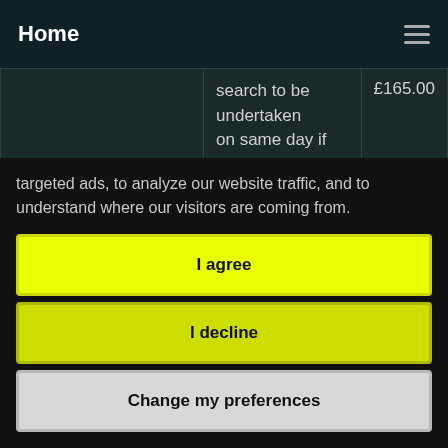Home
|  | Description | Price |
| --- | --- | --- |
|  | search to be undertaken on same day if requested before 11am or the following day if received | £165.00 |
| Expedited Search (Commercial) | search to be undertaken on same day if requested before 11am or the following day if received | £225.00 |
targeted ads, to analyze our website traffic, and to understand where our visitors are coming from.
I agree
I decline
Change my preferences